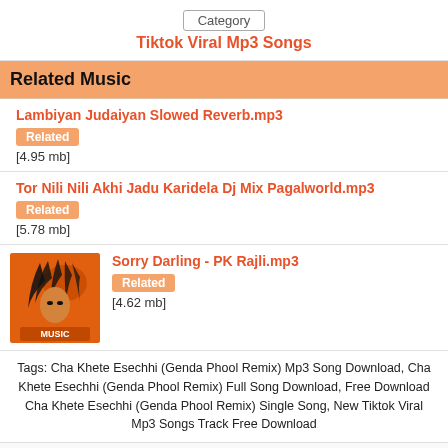Category
Tiktok Viral Mp3 Songs
Related Music
Lambiyan Judaiyan Slowed Reverb.mp3 | Related | [4.95 mb]
Tor Nili Nili Akhi Jadu Karidela Dj Mix Pagalworld.mp3 | Related | [5.78 mb]
Sorry Darling - PK Rajli.mp3 | Related | [4.62 mb]
Tags: Cha Khete Esechhi (Genda Phool Remix) Mp3 Song Download, Cha Khete Esechhi (Genda Phool Remix) Full Song Download, Free Download Cha Khete Esechhi (Genda Phool Remix) Single Song, New Tiktok Viral Mp3 Songs Track Free Download
Home » Special Downloads » Tiktok Viral Mp3 Songs
DjSongi.Com